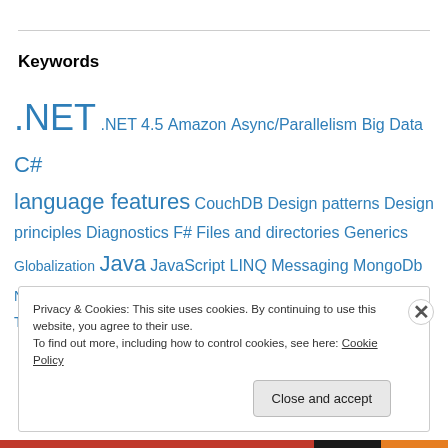Keywords
.NET  .NET 4.5  Amazon  Async/Parallelism  Big Data  C#  language features  CouchDB  Design patterns  Design principles  Diagnostics  F#  Files and directories  Generics  Globalization  Java  JavaScript  LINQ  Messaging  MongoDb  Node  python  Reflection  Security  SOA  Task Parallel Library  TDD  Web API  web api 2  Web optimisation  Windows Service
Privacy & Cookies: This site uses cookies. By continuing to use this website, you agree to their use.
To find out more, including how to control cookies, see here: Cookie Policy
Close and accept